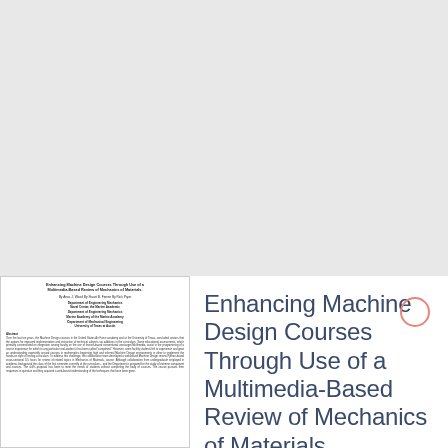[Figure (other): Thumbnail/preview of a document page showing the title, authors, department affiliations, and abstract of the paper about Enhancing Machine Design Courses.]
Enhancing Machine Design Courses Through Use of a Multimedia-Based Review of Mechanics of Materials